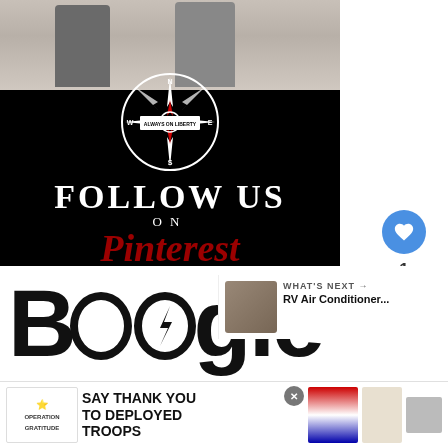[Figure (photo): A black background promotional image for 'Always on Liberty' Pinterest page. Top portion shows two people (a couple) hiking outdoors. Middle shows a compass rose logo with text 'ALWAYS ON LIBERTY'. Bottom portion has large white text 'FOLLOW US ON' and large red cursive text 'Pinterest'.]
[Figure (screenshot): UI element showing a blue heart/like button and a share button with count of 1 like.]
[Figure (photo): Partial view of 'Boogie' brand logo in large black bold text on white background, with a lightning bolt icon.]
[Figure (screenshot): A 'WHAT'S NEXT' sidebar panel showing thumbnail image and text 'RV Air Conditioner...']
[Figure (screenshot): Advertisement banner for Operation Gratitude with text 'SAY THANK YOU TO DEPLOYED TROOPS' with patriotic imagery and a mascot character.]